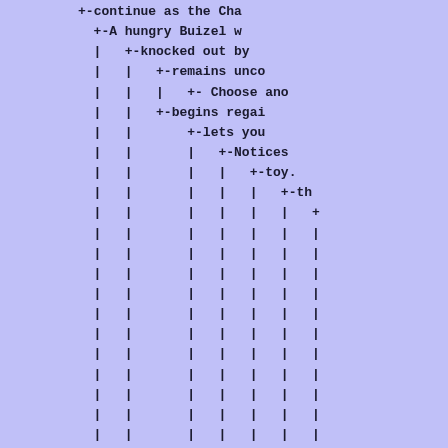Tree diagram showing a branching structure with pipe characters and plus-dash connectors. Visible text includes: '+-continue as the Cha', '+-A hungry Buizel w', '+-knocked out by', '+-remains unco', '| +- Choose ano', '+-begins regai', '+-lets you', '| +-Notices', '| +-toy.', '| | +-th', '| | | +', followed by many rows of pipe characters representing deep nesting.